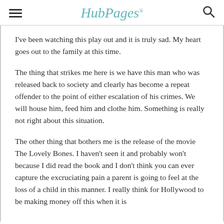HubPages
I've been watching this play out and it is truly sad. My heart goes out to the family at this time.
The thing that strikes me here is we have this man who was released back to society and clearly has become a repeat offender to the point of either escalation of his crimes. We will house him, feed him and clothe him. Something is really not right about this situation.
The other thing that bothers me is the release of the movie The Lovely Bones. I haven't seen it and probably won't because I did read the book and I don't think you can ever capture the excruciating pain a parent is going to feel at the loss of a child in this manner. I really think for Hollywood to be making money off this when it is